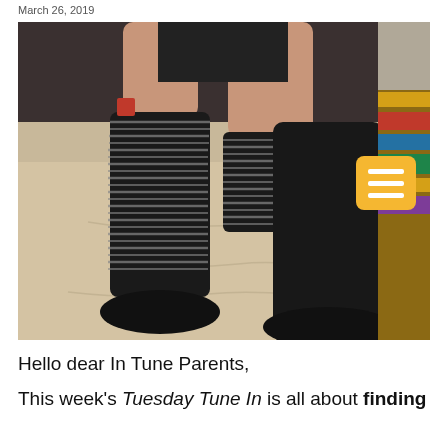March 26, 2019
[Figure (photo): Photo of two pairs of legs/feet on a couch — one person wearing striped black-and-white socks with black shoes, another wearing black boots. A golden/yellow menu icon button is visible in the upper right of the image.]
Hello dear In Tune Parents,
This week's Tuesday Tune In is all about finding